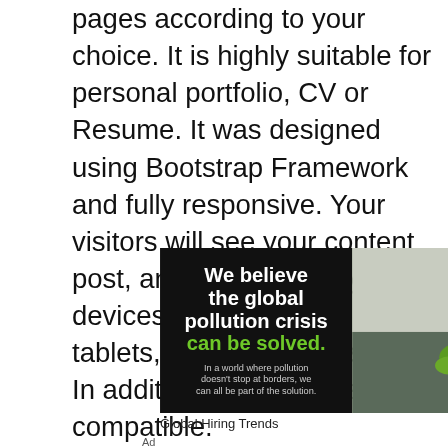pages according to your choice. It is highly suitable for personal portfolio, CV or Resume. It was designed using Bootstrap Framework and fully responsive. Your visitors will see your content, post, and offer from any devices like smartphones, tablets, laptops and desktop. In addition, cross browser compatible.
[Figure (infographic): Advertisement banner split into two halves: left black panel with white bold text 'We believe the global pollution crisis' and green bold text 'can be solved.' plus subtext 'In a world where pollution doesn't stop at borders, we can all be part of the solution.'; right panel shows photo of person in white hard hat near green plant.]
Global Hiring Trends
Ad